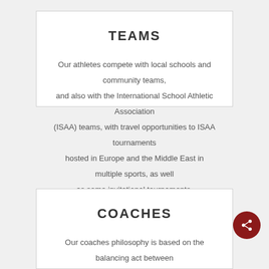TEAMS
Our athletes compete with local schools and community teams, and also with the International School Athletic Association (ISAA) teams, with travel opportunities to ISAA tournaments hosted in Europe and the Middle East in multiple sports, as well as some invitational tournaments.
Read More ....
COACHES
Our coaches philosophy is based on the balancing act between teaching educational athletics, athletic skills and team